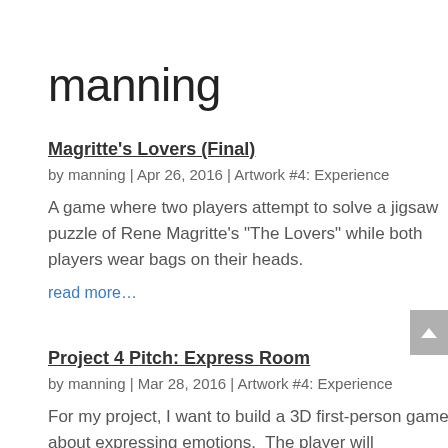manning
Magritte's Lovers (Final)
by manning | Apr 26, 2016 | Artwork #4: Experience
A game where two players attempt to solve a jigsaw puzzle of Rene Magritte’s “The Lovers” while both players wear bags on their heads.
read more…
Project 4 Pitch: Express Room
by manning | Mar 28, 2016 | Artwork #4: Experience
For my project, I want to build a 3D first-person game about expressing emotions.  The player will